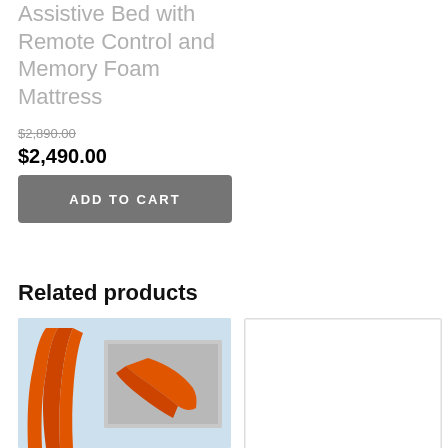Assistive Bed with Remote Control and Memory Foam Mattress
$2,890.00
$2,490.00
ADD TO CART
Related products
[Figure (photo): Product photo showing an orange assistive device with inset image of device in use]
[Figure (photo): Empty white product image placeholder with light border]